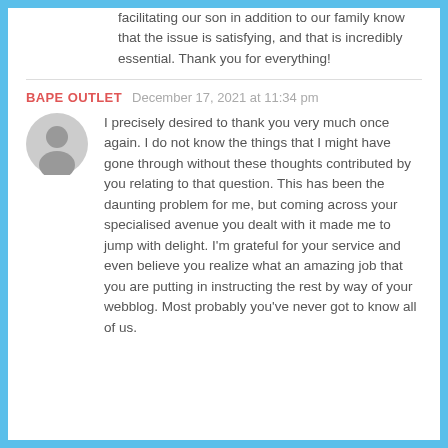facilitating our son in addition to our family know that the issue is satisfying, and that is incredibly essential. Thank you for everything!
BAPE OUTLET   December 17, 2021 at 11:34 pm
I precisely desired to thank you very much once again. I do not know the things that I might have gone through without these thoughts contributed by you relating to that question. This has been the daunting problem for me, but coming across your specialised avenue you dealt with it made me to jump with delight. I'm grateful for your service and even believe you realize what an amazing job that you are putting in instructing the rest by way of your webblog. Most probably you've never got to know all of us.